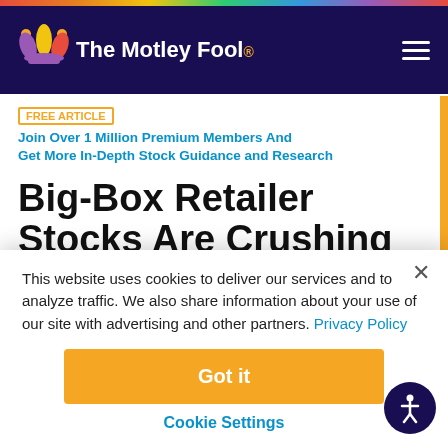The Motley Fool
FREE ARTICLE  Join Over 1 Million Premium Members And Get More In-Depth Stock Guidance and Research
Big-Box Retailer Stocks Are Crushing the Market
By Daniel Sparks - Updated Mar 17, 2020 at 5:29PM
This website uses cookies to deliver our services and to analyze traffic. We also share information about your use of our site with advertising and other partners. Privacy Policy
Got it
Cookie Settings